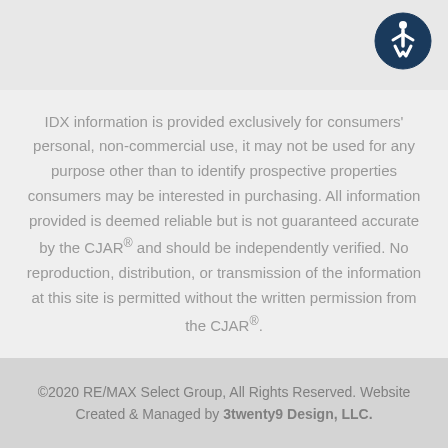[Figure (logo): Accessibility icon: a circular navy blue badge with a white running/wheelchair accessibility figure in the center]
IDX information is provided exclusively for consumers' personal, non-commercial use, it may not be used for any purpose other than to identify prospective properties consumers may be interested in purchasing. All information provided is deemed reliable but is not guaranteed accurate by the CJAR® and should be independently verified. No reproduction, distribution, or transmission of the information at this site is permitted without the written permission from the CJAR®.
©2020 RE/MAX Select Group, All Rights Reserved. Website Created & Managed by 3twenty9 Design, LLC.